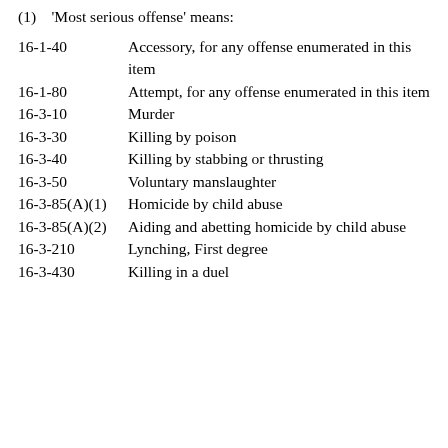(1)   'Most serious offense' means:
16-1-40    Accessory, for any offense enumerated in this item
16-1-80    Attempt, for any offense enumerated in this item
16-3-10    Murder
16-3-30    Killing by poison
16-3-40    Killing by stabbing or thrusting
16-3-50    Voluntary manslaughter
16-3-85(A)(1)    Homicide by child abuse
16-3-85(A)(2)    Aiding and abetting homicide by child abuse
16-3-210    Lynching, First degree
16-3-430    Killing in a duel